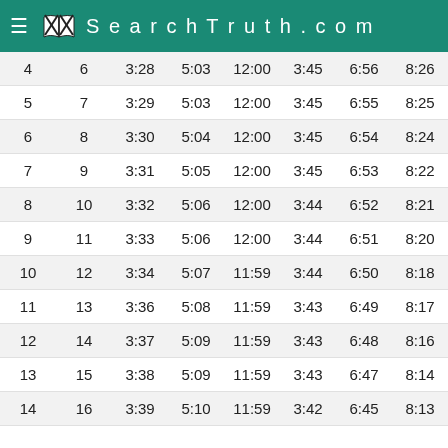SearchTruth.com
| 4 | 6 | 3:28 | 5:03 | 12:00 | 3:45 | 6:56 | 8:26 |
| 5 | 7 | 3:29 | 5:03 | 12:00 | 3:45 | 6:55 | 8:25 |
| 6 | 8 | 3:30 | 5:04 | 12:00 | 3:45 | 6:54 | 8:24 |
| 7 | 9 | 3:31 | 5:05 | 12:00 | 3:45 | 6:53 | 8:22 |
| 8 | 10 | 3:32 | 5:06 | 12:00 | 3:44 | 6:52 | 8:21 |
| 9 | 11 | 3:33 | 5:06 | 12:00 | 3:44 | 6:51 | 8:20 |
| 10 | 12 | 3:34 | 5:07 | 11:59 | 3:44 | 6:50 | 8:18 |
| 11 | 13 | 3:36 | 5:08 | 11:59 | 3:43 | 6:49 | 8:17 |
| 12 | 14 | 3:37 | 5:09 | 11:59 | 3:43 | 6:48 | 8:16 |
| 13 | 15 | 3:38 | 5:09 | 11:59 | 3:43 | 6:47 | 8:14 |
| 14 | 16 | 3:39 | 5:10 | 11:59 | 3:42 | 6:45 | 8:13 |